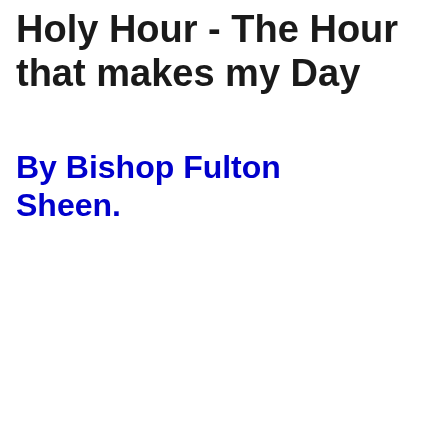Holy Hour - The Hour that makes my Day
By Bishop Fulton Sheen.